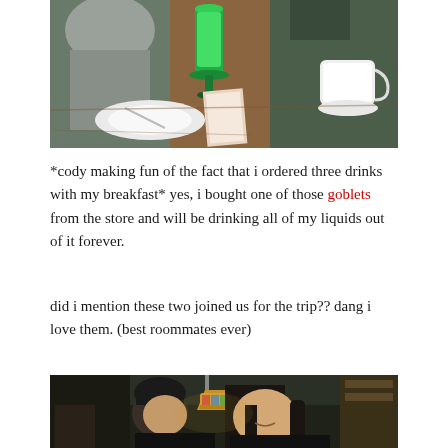[Figure (photo): Photo of people sitting at a restaurant table with a large green goblet glass, plates, and a white coffee cup visible]
*cody making fun of the fact that i ordered three drinks with my breakfast* yes, i bought one of those goblets from the store and will be drinking all of my liquids out of it forever.
did i mention these two joined us for the trip?? dang i love them. (best roommates ever)
[Figure (photo): Photo of two people in a restaurant, one wearing a black beanie kissing the cheek of a woman with dark hair, both dressed in black, with a Tiffany-style hanging lamp visible in the background]